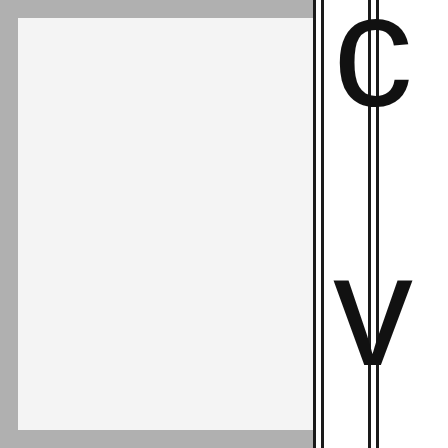[Figure (other): Partial view of a document page showing two panels: a large white/light grey left panel and a right panel with vertical black lines and large partially-visible letters 'c', 'v', 't', 'd' in a sans-serif font, with a grey border around the entire page.]